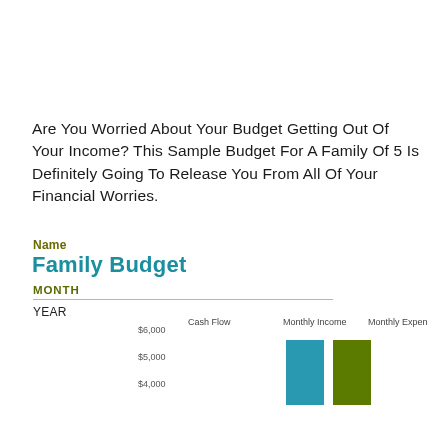Are You Worried About Your Budget Getting Out Of Your Income? This Sample Budget For A Family Of 5 Is Definitely Going To Release You From All Of Your Financial Worries.
Name
Family Budget
MONTH
YEAR
[Figure (bar-chart): Partial bar chart showing Cash Flow, Monthly Income, Monthly Expense legend with teal and olive color bars, y-axis labels $6,000, $5,000, $4,000]